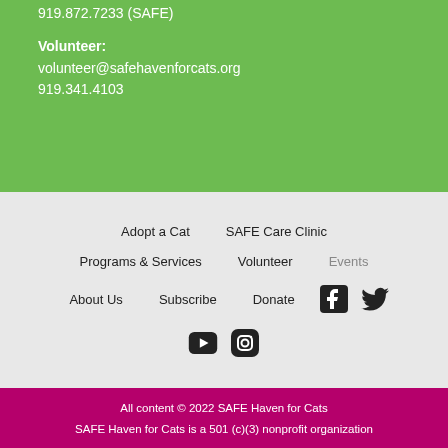919.872.7233 (SAFE)
Volunteer:
volunteer@safehavenforcats.org
919.341.4103
Adopt a Cat
SAFE Care Clinic
Programs & Services
Volunteer
Events
About Us
Subscribe
Donate
[Figure (logo): Facebook icon]
[Figure (logo): Twitter icon]
[Figure (logo): YouTube icon]
[Figure (logo): Instagram icon]
All content © 2022 SAFE Haven for Cats
SAFE Haven for Cats is a 501 (c)(3) nonprofit organization